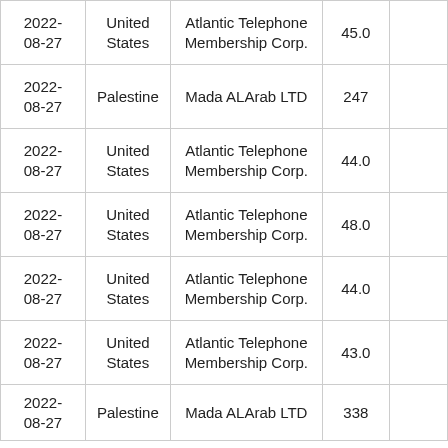| 2022-08-27 | United States | Atlantic Telephone Membership Corp. | 45.0 |  |
| 2022-08-27 | Palestine | Mada ALArab LTD | 247 |  |
| 2022-08-27 | United States | Atlantic Telephone Membership Corp. | 44.0 |  |
| 2022-08-27 | United States | Atlantic Telephone Membership Corp. | 48.0 |  |
| 2022-08-27 | United States | Atlantic Telephone Membership Corp. | 44.0 |  |
| 2022-08-27 | United States | Atlantic Telephone Membership Corp. | 43.0 |  |
| 2022-08-27 | Palestine | Mada ALArab LTD | 338 |  |